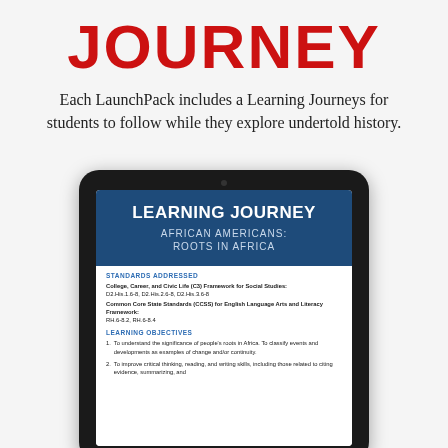JOURNEY
Each LaunchPack includes a Learning Journeys for students to follow while they explore undertold history.
[Figure (screenshot): Tablet device displaying a Learning Journey document for African Americans: Roots in Africa, showing standards addressed and learning objectives sections.]